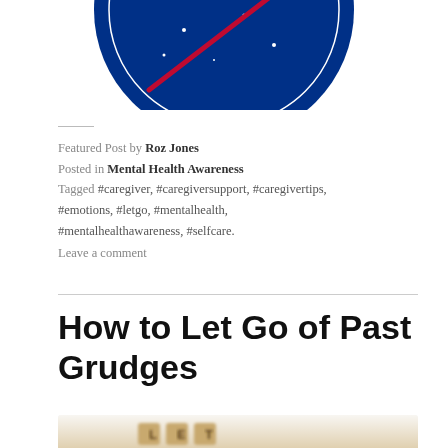[Figure (illustration): Partial view of a circular blue NASA-style logo with a red diagonal swoosh and white stars, cropped at top of page]
Featured Post by Roz Jones
Posted in Mental Health Awareness
Tagged #caregiver, #caregiversupport, #caregivertips, #emotions, #letgo, #mentalhealth, #mentalhealthawareness, #selfcare.
Leave a comment
How to Let Go of Past Grudges
[Figure (photo): Blurred close-up photo of Scrabble tiles spelling 'LET' on a wooden surface, with shallow depth of field]